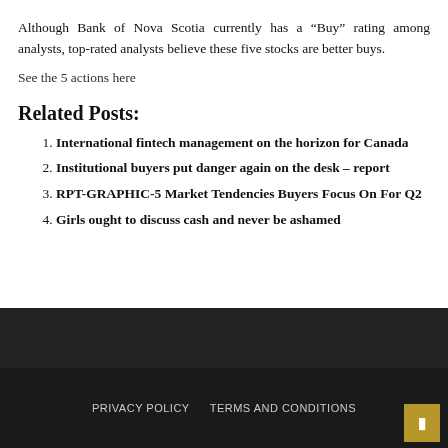Although Bank of Nova Scotia currently has a “Buy” rating among analysts, top-rated analysts believe these five stocks are better buys.
See the 5 actions here
Related Posts:
International fintech management on the horizon for Canada
Institutional buyers put danger again on the desk – report
RPT-GRAPHIC-5 Market Tendencies Buyers Focus On For Q2
Girls ought to discuss cash and never be ashamed
PRIVACY POLICY   TERMS AND CONDITIONS